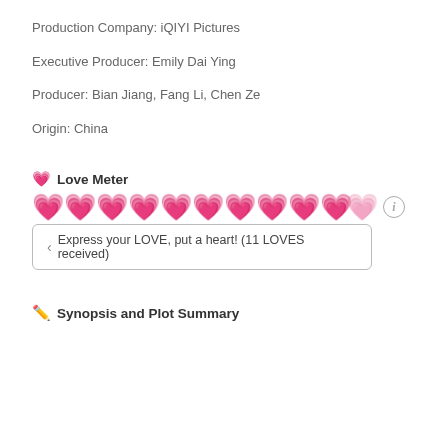Production Company: iQIYI Pictures
Executive Producer: Emily Dai Ying
Producer: Bian Jiang, Fang Li, Chen Ze
Origin: China
💗 Love Meter
[Figure (infographic): Ten pink heart emojis in a row followed by a half-pink heart and an info circle icon, representing a Love Meter rating display.]
Express your LOVE, put a heart! (11 LOVES received)
✏️ Synopsis and Plot Summary